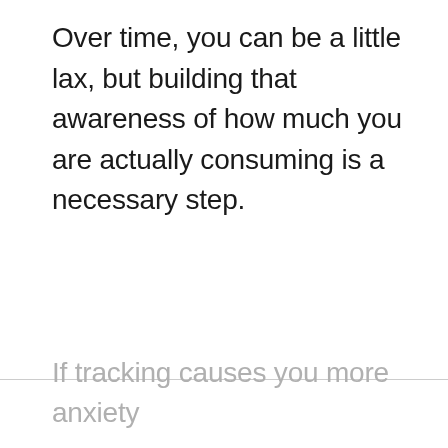Over time, you can be a little lax, but building that awareness of how much you are actually consuming is a necessary step.
If tracking causes you more anxiety